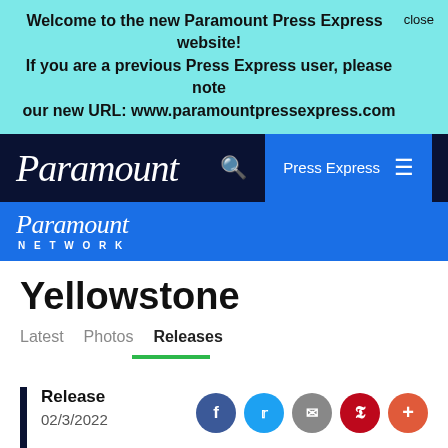Welcome to the new Paramount Press Express website!
If you are a previous Press Express user, please note our new URL: www.paramountpressexpress.com
[Figure (screenshot): Paramount Press Express navigation bar with Paramount script logo, search icon, and Press Express menu button on dark navy background]
[Figure (logo): Paramount Network logo with script Paramount text and NETWORK in spaced capitals on blue background]
Yellowstone
Latest   Photos   Releases
Release
02/3/2022